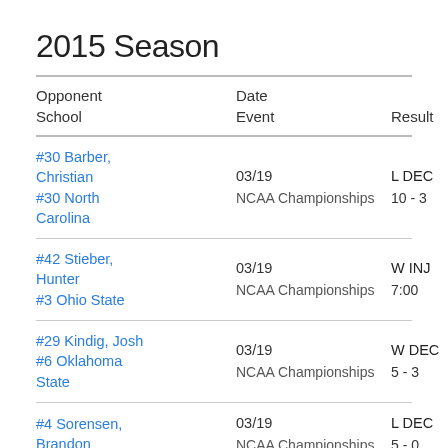2015 Season
| Opponent
School | Date
Event | Result | Video
TDL |
| --- | --- | --- | --- |
| #30 Barber, Christian / #30 North Carolina | 03/19 / NCAA Championships | L DEC / 10 - 3 | + |
| #42 Stieber, Hunter / #3 Ohio State | 03/19 / NCAA Championships | W INJ / 7:00 | + |
| #29 Kindig, Josh / #6 Oklahoma State | 03/19 / NCAA Championships | W DEC / 5 - 3 | + |
| #4 Sorensen, Brandon | 03/19 / NCAA Championships | L DEC / 5 - 0 | + |